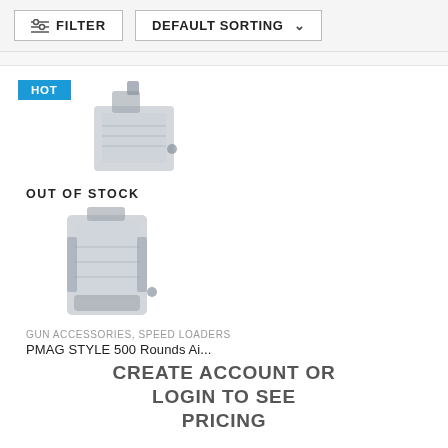FILTER   DEFAULT SORTING
[Figure (photo): Transparent plastic PMAG style airsoft magazine speed loader shown at angle from above]
OUT OF STOCK
[Figure (photo): Transparent plastic PMAG style airsoft magazine speed loader shown from front]
GUN ACCESSORIES, SPEED LOADERS
PMAG STYLE 500 Rounds Ai...
CREATE ACCOUNT OR LOGIN TO SEE PRICING